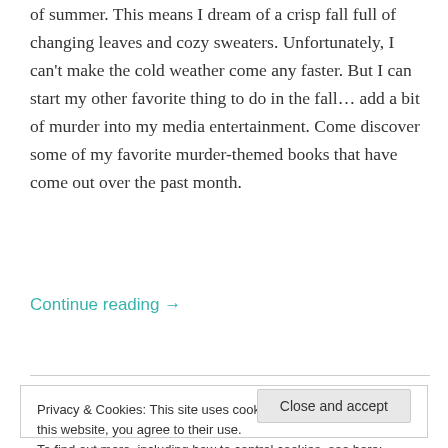of summer. This means I dream of a crisp fall full of changing leaves and cozy sweaters. Unfortunately, I can't make the cold weather come any faster. But I can start my other favorite thing to do in the fall… add a bit of murder into my media entertainment. Come discover some of my favorite murder-themed books that have come out over the past month.
Continue reading →
Privacy & Cookies: This site uses cookies. By continuing to use this website, you agree to their use.
To find out more, including how to control cookies, see here: Cookie Policy